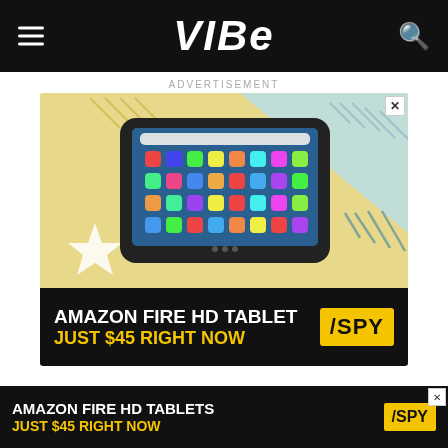VIBE
ADVERTISEMENT
[Figure (photo): Amazon Fire HD Tablet advertisement showing a tablet device with apps on screen, on a colorful background with the text AMAZON FIRE HD TABLET JUST $45 RIGHT NOW and SPY logo]
Field shared a Twitter thread highlighting their tran
[Figure (photo): Bottom banner ad: AMAZON FIRE HD TABLETS JUST $45 RIGHT NOW with SPY logo]